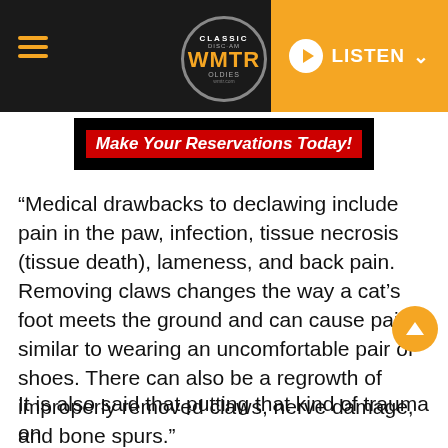[Figure (screenshot): WMTR Classic Oldies radio station website header with hamburger menu, circular logo, and orange LISTEN button]
[Figure (screenshot): Advertisement banner with red background text reading 'Make Your Reservations Today!']
“Medical drawbacks to declawing include pain in the paw, infection, tissue necrosis (tissue death), lameness, and back pain. Removing claws changes the way a cat’s foot meets the ground and can cause pain similar to wearing an uncomfortable pair of shoes. There can also be a regrowth of improperly removed claws, nerve damage, and bone spurs.”
It is also said that putting that kind of trauma on